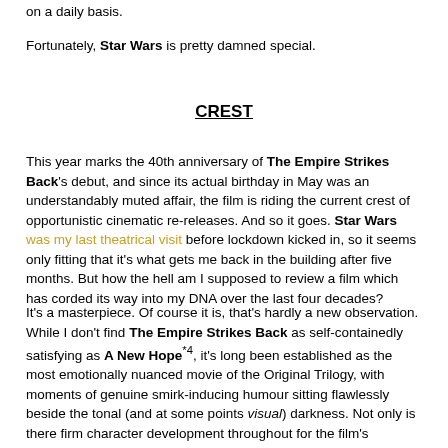on a daily basis.
Fortunately, Star Wars is pretty damned special.
CREST
This year marks the 40th anniversary of The Empire Strikes Back's debut, and since its actual birthday in May was an understandably muted affair, the film is riding the current crest of opportunistic cinematic re-releases. And so it goes. Star Wars was my last theatrical visit before lockdown kicked in, so it seems only fitting that it's what gets me back in the building after five months. But how the hell am I supposed to review a film which has corded its way into my DNA over the last four decades?
It's a masterpiece. Of course it is, that's hardly a new observation. While I don't find The Empire Strikes Back as self-containedly satisfying as A New Hope*4, it's long been established as the most emotionally nuanced movie of the Original Trilogy, with moments of genuine smirk-inducing humour sitting flawlessly beside the tonal (and at some points visual) darkness. Not only is there firm character development throughout for the film's protagonists, but the cast's performances also intuitively indicate the changes which have taken place between, since the Battle of Yavin.